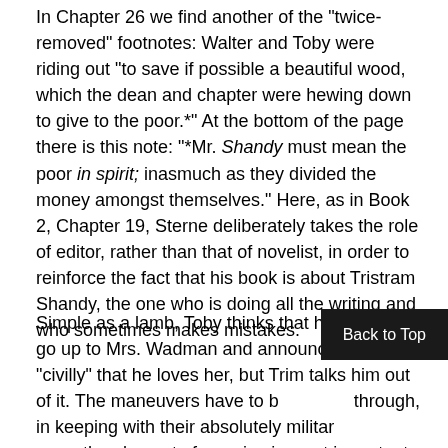In Chapter 26 we find another of the "twice-removed" footnotes: Walter and Toby were riding out "to save if possible a beautiful wood, which the dean and chapter were hewing down to give to the poor.*" At the bottom of the page there is this note: "*Mr. Shandy must mean the poor in spirit; inasmuch as they divided the money amongst themselves." Here, as in Book 2, Chapter 19, Sterne deliberately takes the role of editor, rather than that of novelist, in order to reinforce the fact that his book is about Tristram Shandy, the one who is doing all the writing and who sometimes makes mistakes.
Simple as a lamb, Toby thinks that he ought to go up to Mrs. Wadman and announce to her "civilly" that he loves her, but Trim talks him out of it. The maneuvers have to be carried through, in keeping with their absolutely military style, since the element of surprise is most important in conducting an attack. The victim of the attack, meanwhile, is concerned